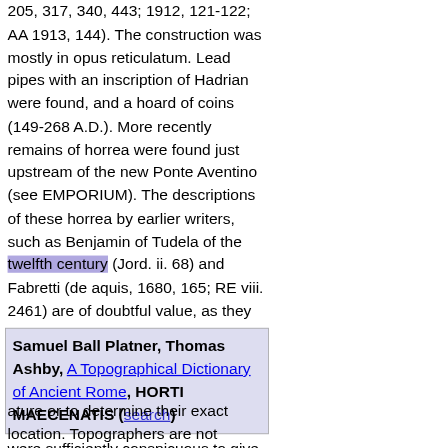205, 317, 340, 443; 1912, 121-122; AA 1913, 144). The construction was mostly in opus reticulatum. Lead pipes with an inscription of Hadrian were found, and a hoard of coins (149-268 A.D.). More recently remains of horrea were found just upstream of the new Ponte Aventino (see EMPORIUM). The descriptions of these horrea by earlier writers, such as Benjamin of Tudela of the twelfth century (Jord. ii. 68) and Fabretti (de aquis, 1680, 165; RE viii. 2461) are of doubtful value, as they probably did not distinguish accurately between the horrea and surrounding buildings, like the EMPORIUM (q.v.). The remains of the 'horrea publica populi Romani' were sufficiently conspicuous to give their name to a mediaeval region; and we have records of three churches called ' in horrea ' (HCh 266, 272, 416).
Samuel Ball Platner, Thomas Ashby, A Topographical Dictionary of Ancient Rome, HORTI MAECENATIS (search)
ature or to determine their exact location. Topographers are not agreed as to whether they lay on both sides of the agger and both north and south of the